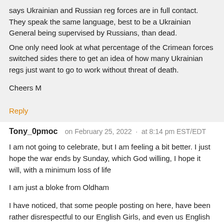says Ukrainian and Russian reg forces are in full contact. They speak the same language, best to be a Ukrainian General being supervised by Russians, than dead.
One only need look at what percentage of the Crimean forces switched sides there to get an idea of how many Ukrainian regs just want to go to work without threat of death.
Cheers M
Reply
Tony_0pmoc    on February 25, 2022  ·  at 8:14 pm EST/EDT
I am not going to celebrate, but I am feeling a bit better. I just hope the war ends by Sunday, which God willing, I hope it will, with a minimum loss of life
I am just a bloke from Oldham
I have noticed, that some people posting on here, have been rather disrespectful to our English Girls, and even us English men. By all means slag us Englishmen, but do not slag off our Girls, they haven't done anything wrong.